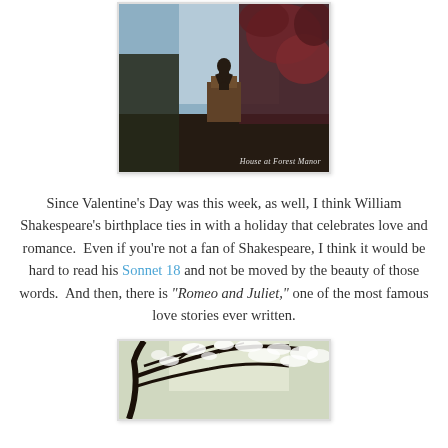[Figure (photo): Photo of a statue silhouetted against a bright sky, with a flowering red tree on the right side. Caption reads 'House at Forest Manor'.]
Since Valentine's Day was this week, as well, I think William Shakespeare's birthplace ties in with a holiday that celebrates love and romance.  Even if you're not a fan of Shakespeare, I think it would be hard to read his Sonnet 18 and not be moved by the beauty of those words.  And then, there is "Romeo and Juliet," one of the most famous love stories ever written.
[Figure (photo): Photo of blossoming white tree branches against a bright sky, viewed from below.]